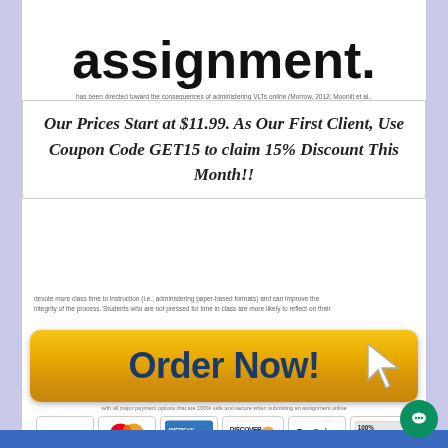assignment.
has been directed toward the consequences of administering VLTs online (Morrow, 2012; Moonlit et al.,
Our Prices Start at $11.99. As Our First Client, Use Coupon Code GET15 to claim 15% Discount This Month!!
devote more class time to instruction (i.e., administering paper-based formats) and can improve the integrity of the process. Students who are not pressed for time in class are more likely to reflect on their
[Figure (infographic): Orange/yellow gradient 'Order Now!' button with dark blue bold text and a white cursor arrow icon on the right side. Below the button are payment method logos: VISA, MasterCard, American Express, Discover, PayPal, and 100% Secure 128 SSL Encryption badge.]
privacy to about online administration (VET). Students have expressed concerns that their responses are not confidential when they must use their student identification number to log into the system.
[Figure (other): Green circular chat button in bottom right corner]